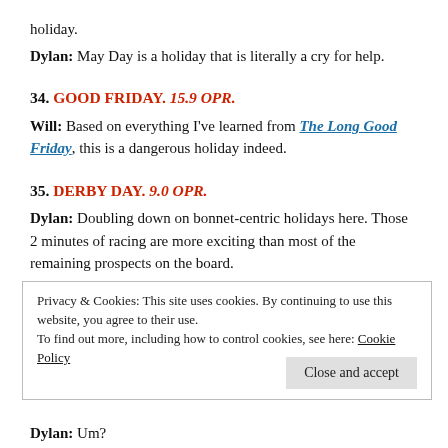holiday.
Dylan: May Day is a holiday that is literally a cry for help.
34. GOOD FRIDAY. 15.9 OPR.
Will: Based on everything I've learned from The Long Good Friday, this is a dangerous holiday indeed.
35. DERBY DAY. 9.0 OPR.
Dylan: Doubling down on bonnet-centric holidays here. Those 2 minutes of racing are more exciting than most of the remaining prospects on the board.
Privacy & Cookies: This site uses cookies. By continuing to use this website, you agree to their use. To find out more, including how to control cookies, see here: Cookie Policy
Dylan: Um?